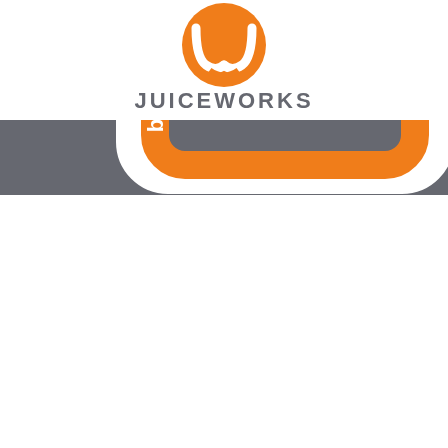[Figure (logo): Partial logo on gray background showing orange and white rectangular 'D' shaped design with the text 'boo' vertically on left side in white]
[Figure (logo): Interface Exhibits Inc logo with blue square/circle frame icon and bold blue text 'INTERFACE EXHIBITS INC' with website www.interfaceexhibits.com below]
[Figure (logo): Juiceworks logo with orange circular emblem containing stylized 'W' or 'JW' lettermark and gray text 'JUICEWORKS' below]